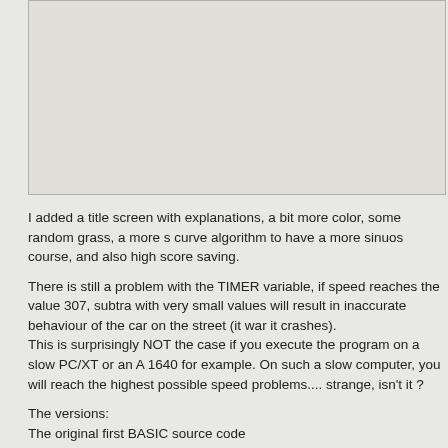[Figure (other): Large gray rectangular image placeholder at the top of the page]
I added a title screen with explanations, a bit more color, some random grass, a more s curve algorithm to have a more sinuos course, and also high score saving.
There is still a problem with the TIMER variable, if speed reaches the value 307, subtra with very small values will result in inaccurate behaviour of the car on the street (it war it crashes).
This is surprisingly NOT the case if you execute the program on a slow PC/XT or an A 1640 for example. On such a slow computer, you will reach the highest possible speed problems.... strange, isn't it ?
The versions:
The original first BASIC source code
The compiled first BASIC version, DOS compatible
The original first BASIC source code, optimized
The compiled and "improved" BASIC version, DOS compatible
The compiled and "improved" BASIC version, OS/2 compatible
Compiled versions are for 286 based PCs and older. Source can be run with an BASIC